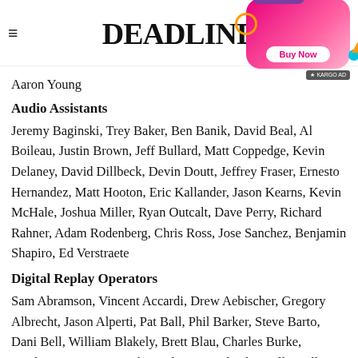DEADLINE
Aaron Young
Audio Assistants
Jeremy Baginski, Trey Baker, Ben Banik, David Beal, Al Boileau, Justin Brown, Jeff Bullard, Matt Coppedge, Kevin Delaney, David Dillbeck, Devin Doutt, Jeffrey Fraser, Ernesto Hernandez, Matt Hooton, Eric Kallander, Jason Kearns, Kevin McHale, Joshua Miller, Ryan Outcalt, Dave Perry, Richard Rahner, Adam Rodenberg, Chris Ross, Jose Sanchez, Benjamin Shapiro, Ed Verstraete
Digital Replay Operators
Sam Abramson, Vincent Accardi, Drew Aebischer, Gregory Albrecht, Jason Alperti, Pat Ball, Phil Barker, Steve Barto, Dani Bell, William Blakely, Brett Blau, Charles Burke, Stephanie Cavaco, Matthew Christian, Chuck Cirelli, Willie Cochran, Joshua Cohen, Robert Collins, Joseph Connelly, Lauren Correa-Sikoryak, James Dean, Nelson Dellamaggiore, Jerome Dunson, Jon Epstein, Dan Farrell, Sean Fiorello, Nikk Franklyn, Josh Glaser, William